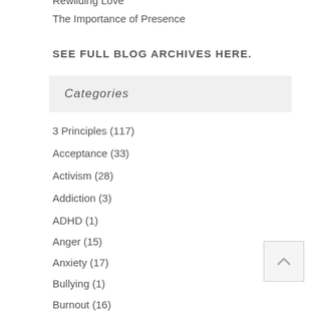Rewilding Love
The Importance of Presence
SEE FULL BLOG ARCHIVES HERE.
Categories
3 Principles (117)
Acceptance (33)
Activism (28)
Addiction (3)
ADHD (1)
Anger (15)
Anxiety (17)
Bullying (1)
Burnout (16)